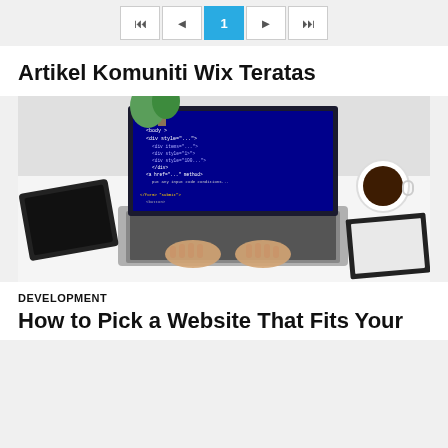| ◄ 1 ► |►|
Artikel Komuniti Wix Teratas
[Figure (photo): Overhead view of person typing on laptop with blue code on screen, tablet and notebook nearby, coffee cup on right]
DEVELOPMENT
How to Pick a Website That Fits Your